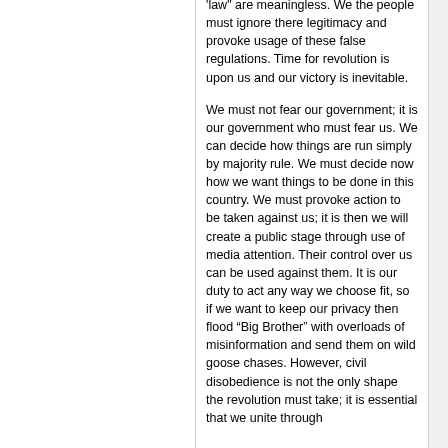'law' are meaningless. We the people must ignore there legitimacy and provoke usage of these false regulations. Time for revolution is upon us and our victory is inevitable.
We must not fear our government; it is our government who must fear us. We can decide how things are run simply by majority rule. We must decide now how we want things to be done in this country. We must provoke action to be taken against us; it is then we will create a public stage through use of media attention. Their control over us can be used against them. It is our duty to act any way we choose fit, so if we want to keep our privacy then flood “Big Brother” with overloads of misinformation and send them on wild goose chases. However, civil disobedience is not the only shape the revolution must take; it is essential that we unite through